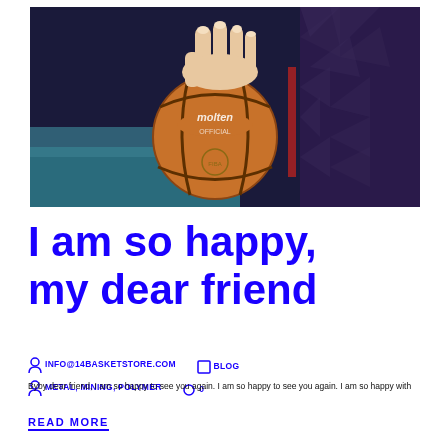[Figure (photo): A hand holding a Molten official basketball, with a person wearing dark athletic shorts visible in the background against a dark backdrop.]
I am so happy, my dear friend
INFO@14BASKETSTORE.COM  BLOG
METAL, MINING, POLYMER  0
Byby dear friend, I am so happy to see you again. I am so happy to see you again. I am so happy with
READ MORE